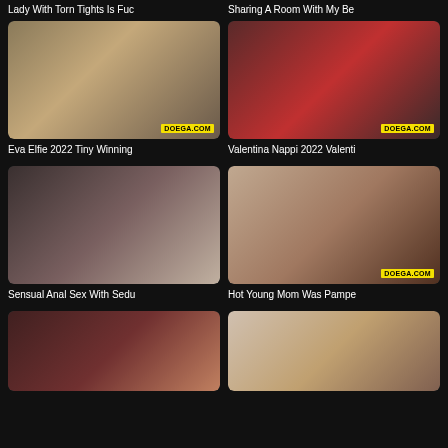Lady With Torn Tights Is Fuc
Sharing A Room With My Be
[Figure (photo): Adult video thumbnail - Eva Elfie 2022 Tiny Winning]
Eva Elfie 2022 Tiny Winning
[Figure (photo): Adult video thumbnail - Valentina Nappi 2022 Valenti]
Valentina Nappi 2022 Valenti
[Figure (photo): Adult video thumbnail - Sensual Anal Sex With Sedu]
Sensual Anal Sex With Sedu
[Figure (photo): Adult video thumbnail - Hot Young Mom Was Pampe]
Hot Young Mom Was Pampe
[Figure (photo): Adult video thumbnail - partial view at bottom left]
[Figure (illustration): Anime/hentai illustration thumbnail - partial view at bottom right]